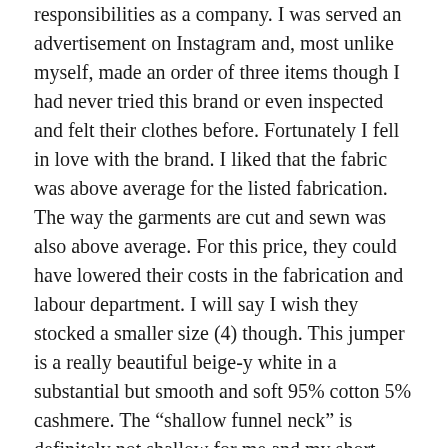responsibilities as a company. I was served an advertisement on Instagram and, most unlike myself, made an order of three items though I had never tried this brand or even inspected and felt their clothes before. Fortunately I fell in love with the brand. I liked that the fabric was above average for the listed fabrication. The way the garments are cut and sewn was also above average. For this price, they could have lowered their costs in the fabrication and labour department. I will say I wish they stocked a smaller size (4) though. This jumper is a really beautiful beige-y white in a substantial but smooth and soft 95% cotton 5% cashmere. The "shallow funnel neck" is definitely not shallow for me and my short neck though, haha. I usually roll it down so I don't feel like I am being suffocated. Was $229, down to $99, extra 25% off = $74.25
Elka Collective Sherry Knit (oatmeal; 6; still available at The Iconic Outlet but more expensive) – I've never had a short sleeve knit like this before. For some reason the colour names